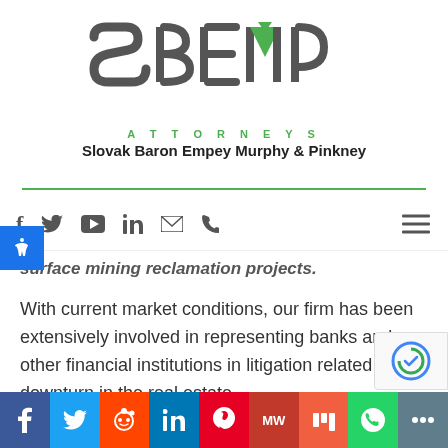[Figure (logo): SBEMP Attorneys logo — Slovak Baron Empey Murphy & Pinkney law firm logo with large stylized letters in gray and green]
surface mining reclamation projects.
With current market conditions, our firm has been extensively involved in representing banks and other financial institutions in litigation related to the downturn in the real estate
Social share bar: Facebook, Twitter, Reddit, LinkedIn, Pinterest, MW, Mix, WhatsApp, More